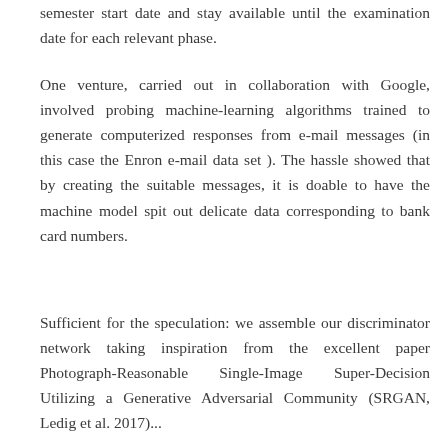semester start date and stay available until the examination date for each relevant phase.
One venture, carried out in collaboration with Google, involved probing machine-learning algorithms trained to generate computerized responses from e-mail messages (in this case the Enron e-mail data set ). The hassle showed that by creating the suitable messages, it is doable to have the machine model spit out delicate data corresponding to bank card numbers.
Sufficient for the speculation: we assemble our discriminator network taking inspiration from the excellent paper Photograph-Reasonable Single-Image Super-Decision Utilizing a Generative Adversarial Community (SRGAN, Ledig et al. 2017)...